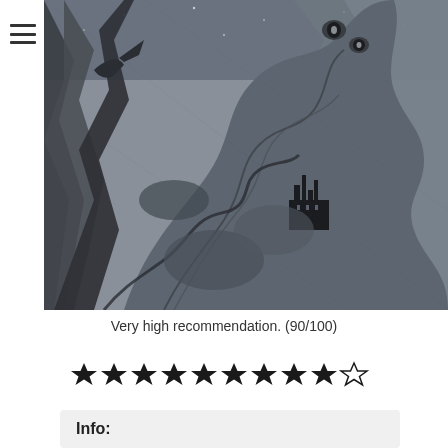[Figure (illustration): Black and white detailed ink illustration showing swirling dark fantasy artwork with flames, tentacle-like forms, a castle or fortress structure, and intricate creature-like designs. Dense crosshatching and fine line work throughout. Appears to be album artwork for a metal band.]
Very high recommendation. (90/100)
[Figure (other): Star rating display showing 9 filled black stars and 1 empty/outline star, representing a 9 out of 10 rating.]
Info: